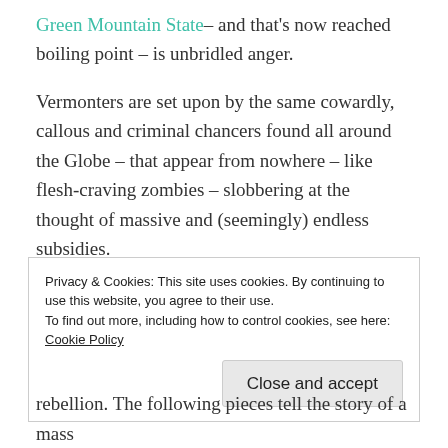Green Mountain State– and that's now reached boiling point – is unbridled anger.
Vermonters are set upon by the same cowardly, callous and criminal chancers found all around the Globe – that appear from nowhere – like flesh-craving zombies – slobbering at the thought of massive and (seemingly) endless subsidies.
REPORT THIS AD
Privacy & Cookies: This site uses cookies. By continuing to use this website, you agree to their use.
To find out more, including how to control cookies, see here: Cookie Policy
Close and accept
rebellion. The following pieces tell the story of a mass